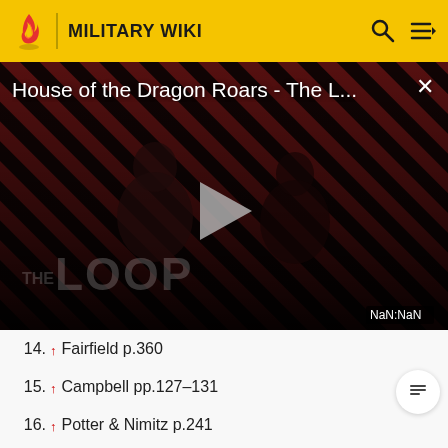MILITARY WIKI
[Figure (screenshot): Video thumbnail for 'House of the Dragon Roars - The L...' with a play button, dark background with diagonal red/black stripes, silhouetted person figure, THE LOOP text watermark, and NaN:NaN timestamp badge.]
14. ↑ Fairfield p.360
15. ↑ Campbell pp.127–131
16. ↑ Potter & Nimitz p.241
17. ↑ University of New Mexico NROTC Sun Line Vol.II No.3 March 1964